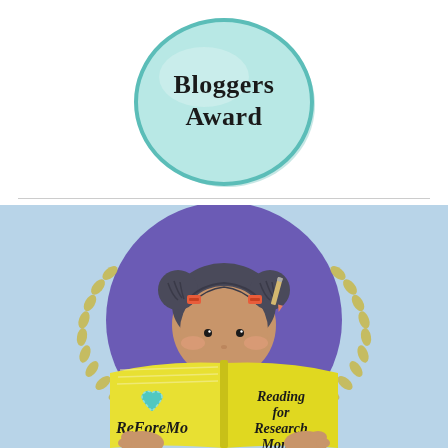[Figure (illustration): A circular badge with teal/mint color showing text 'Bloggers Award' in serif font on a light mint/teal rounded button shape]
[Figure (illustration): An illustration of a cartoon girl with dark hair in two buns held with orange hair clips and a pencil, reading a large yellow open book. She is set inside a purple circle with a laurel wreath border on a light blue background. The left page of the book says 'ReForeMo' with a teal heart, and the right page says 'Reading for Research Month']